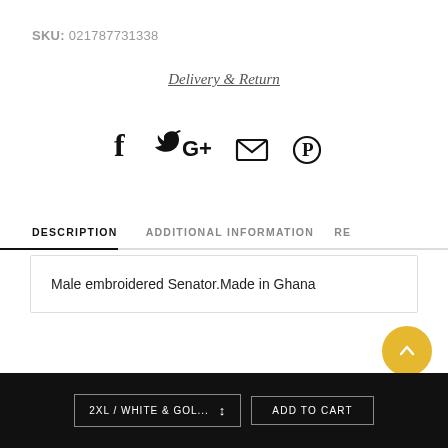SKU: 021787731338
Delivery & Return
[Figure (other): Social sharing icons row: Facebook, Twitter, Google+, Email, Pinterest]
DESCRIPTION   ADDITIONAL INFORMATION   RE
Male embroidered Senator.Made in Ghana
[Figure (other): Scroll-to-top button: circular gold button with upward chevron arrow]
2XL / WHITE & GOL...   ADD TO CART